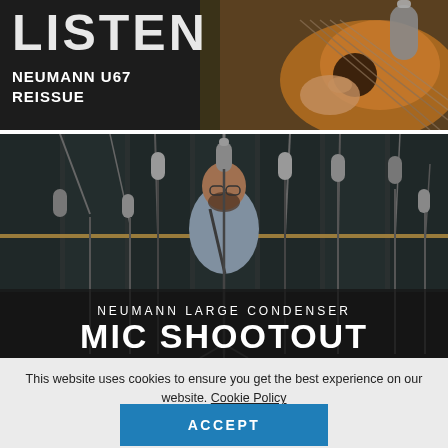[Figure (photo): Top banner showing partial text LISTEN with NEUMANN U67 REISSUE subtitle over dark background with guitar player hands visible on right side]
[Figure (photo): Studio photo of a man standing at a microphone in a recording studio surrounded by multiple large condenser microphones on stands, with text overlay NEUMANN LARGE CONDENSER MIC SHOOTOUT]
This website uses cookies to ensure you get the best experience on our website. Cookie Policy
ACCEPT